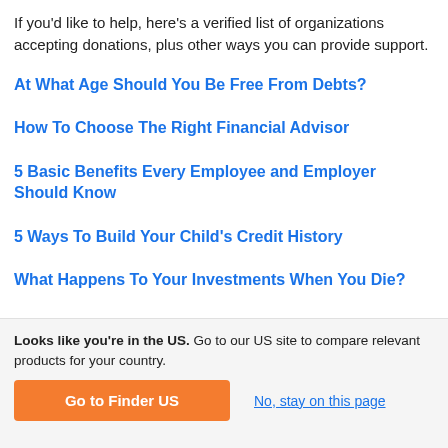If you'd like to help, here's a verified list of organizations accepting donations, plus other ways you can provide support.
At What Age Should You Be Free From Debts?
How To Choose The Right Financial Advisor
5 Basic Benefits Every Employee and Employer Should Know
5 Ways To Build Your Child's Credit History
What Happens To Your Investments When You Die?
Looks like you're in the US. Go to our US site to compare relevant products for your country.
Go to Finder US
No, stay on this page